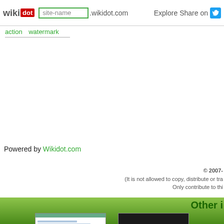wikidot | site-name .wikidot.com | Explore | Share on
action  watermark
Powered by Wikidot.com
© 2007-
(It is not allowed to copy, distribute or tra...
Only contribute to thi...
Other i
[Figure (screenshot): Screenshot of Circulation Services library webpage]
Circulation Services
Library Circulation and Access Services
[Figure (screenshot): Screenshot of dark-themed webpage with Japanese characters]
日本語
日本語